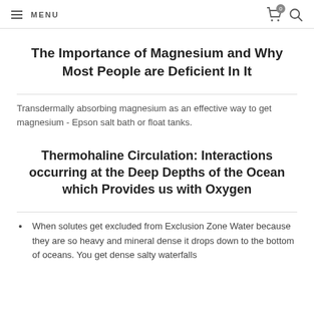MENU
The Importance of Magnesium and Why Most People are Deficient In It
Transdermally absorbing magnesium as an effective way to get magnesium - Epson salt bath or float tanks.
Thermohaline Circulation: Interactions occurring at the Deep Depths of the Ocean which Provides us with Oxygen
When solutes get excluded from Exclusion Zone Water because they are so heavy and mineral dense it drops down to the bottom of oceans. You get dense salty waterfalls